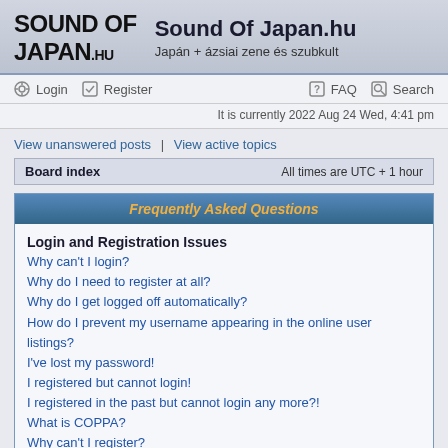[Figure (logo): Sound Of Japan.hu logo with stylized grunge text]
Sound Of Japan.hu
Japán + ázsiai zene és szubkult
Login | Register | FAQ | Search
It is currently 2022 Aug 24 Wed, 4:41 pm
View unanswered posts | View active topics
Board index    All times are UTC + 1 hour
Frequently Asked Questions
Login and Registration Issues
Why can't I login?
Why do I need to register at all?
Why do I get logged off automatically?
How do I prevent my username appearing in the online user listings?
I've lost my password!
I registered but cannot login!
I registered in the past but cannot login any more?!
What is COPPA?
Why can't I register?
What does the "Delete all board cookies" do?
User Preferences and settings
How do I change my settings?